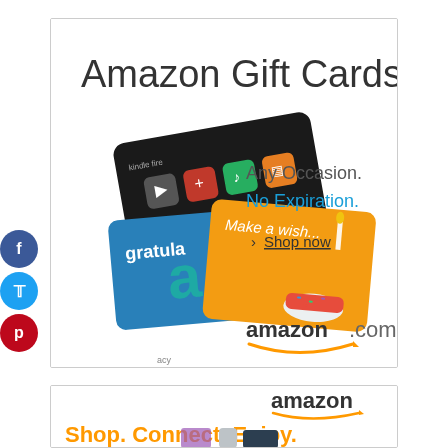[Figure (illustration): Amazon Gift Cards advertisement. Shows Kindle Fire gift card and a yellow birthday 'Make a wish...' gift card with confetti. Text reads 'Amazon Gift Cards', 'Any Occasion. No Expiration.' and '> Shop now'. Amazon.com logo at bottom. Social media icons (Facebook, Twitter, Pinterest) on left side.]
[Figure (illustration): Amazon advertisement. Shows amazon logo in black with orange smile. Text 'Shop. Connect. Enjoy.' in orange. Images of products: purple bag, cylindrical speaker, black cookware with food.]